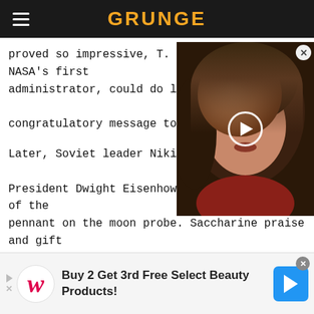GRUNGE
proved so impressive, T. Keith Glennan, NASA's first administrator, could do little more than send a congratulatory message to the
[Figure (photo): Video thumbnail showing a woman's face with dark hair, with a play button overlay]
Later, Soviet leader Nikita Krus President Dwight Eisenhower with a replica of the pennant on the moon probe. Saccharine praise and gift exchange aside, the Soviets had seriously considered arming Luna-2 with a nuclear warhead. Regarding the failed trajectory of the many launches leading up to Luna-2, the probe could have easily boomeranged back
[Figure (infographic): Advertisement banner: Buy 2 Get 3rd Free Select Beauty Products! Walgreens logo with red cursive W, Google Maps-style icon on right.]